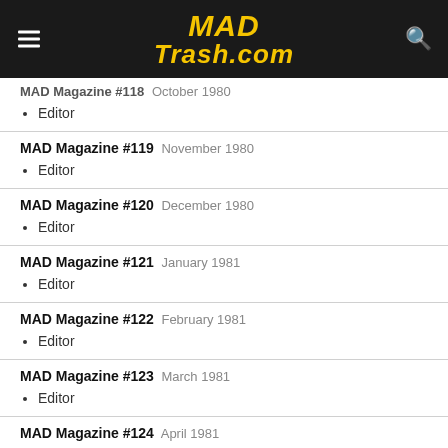MAD Trash.com
MAD Magazine #118  October 1980
Editor
MAD Magazine #119  November 1980
Editor
MAD Magazine #120  December 1980
Editor
MAD Magazine #121  January 1981
Editor
MAD Magazine #122  February 1981
Editor
MAD Magazine #123  March 1981
Editor
MAD Magazine #124  April 1981